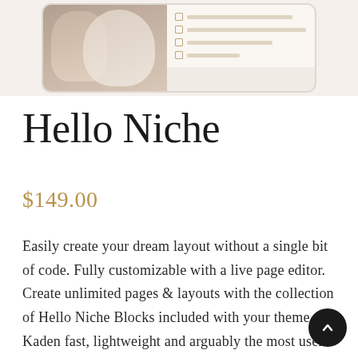[Figure (screenshot): Screenshot of a website template showing a photo of a woman with jewelry and a checklist interface on a beige/cream background]
Hello Niche
$149.00
Easily create your dream layout without a single bit of code. Fully customizable with a live page editor. Create unlimited pages & layouts with the collection of Hello Niche Blocks included with your theme. Kaden fast, lightweight and arguably the most user